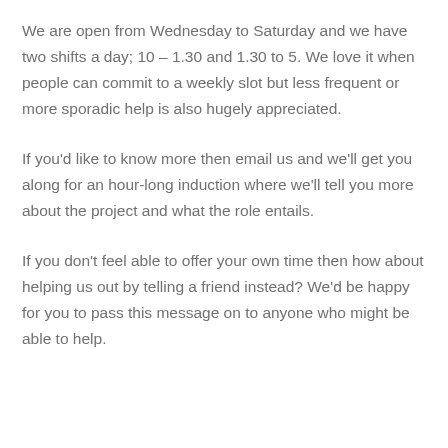We are open from Wednesday to Saturday and we have two shifts a day; 10 – 1.30 and 1.30 to 5. We love it when people can commit to a weekly slot but less frequent or more sporadic help is also hugely appreciated.
If you'd like to know more then email us and we'll get you along for an hour-long induction where we'll tell you more about the project and what the role entails.
If you don't feel able to offer your own time then how about helping us out by telling a friend instead? We'd be happy for you to pass this message on to anyone who might be able to help.